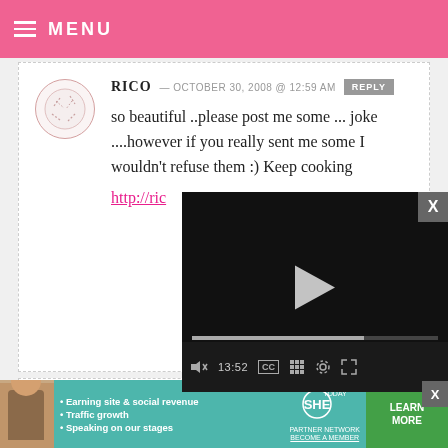MENU
RICO — OCTOBER 30, 2008 @ 12:59 AM  REPLY
so beautiful ..please post me some ... joke ....however if you really sent me some I wouldn't refuse them :) Keep cooking
http://ric
[Figure (screenshot): Video player overlay showing black video area with play button, progress bar at 13:52, and controls including mute, CC, grid, settings, and fullscreen buttons]
JAINA — OCTOBER 29, 2008 @ 8:18 PM  REPLY
[Figure (infographic): SHE Partner Network advertisement banner with woman photo, bullet points: Earning site & social revenue, Traffic growth, Speaking on our stages. Includes SHE logo and LEARN MORE button.]